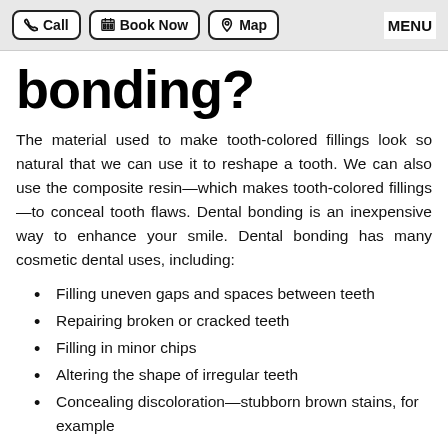Call | Book Now | Map | MENU
bonding?
The material used to make tooth-colored fillings look so natural that we can use it to reshape a tooth. We can also use the composite resin—which makes tooth-colored fillings—to conceal tooth flaws. Dental bonding is an inexpensive way to enhance your smile. Dental bonding has many cosmetic dental uses, including:
Filling uneven gaps and spaces between teeth
Repairing broken or cracked teeth
Filling in minor chips
Altering the shape of irregular teeth
Concealing discoloration—stubborn brown stains, for example